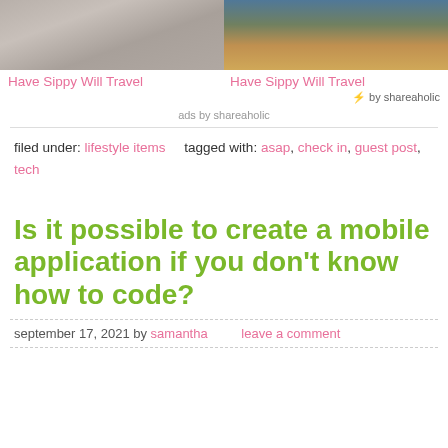[Figure (photo): Two side-by-side ad images: left shows a woman in a gray dress, right shows silhouette of person on beach at sunset]
Have Sippy Will Travel
Have Sippy Will Travel
⚡ by shareaholic
ads by shareaholic
filed under: lifestyle items   tagged with: asap, check in, guest post, tech
Is it possible to create a mobile application if you don't know how to code?
september 17, 2021 by samantha   leave a comment